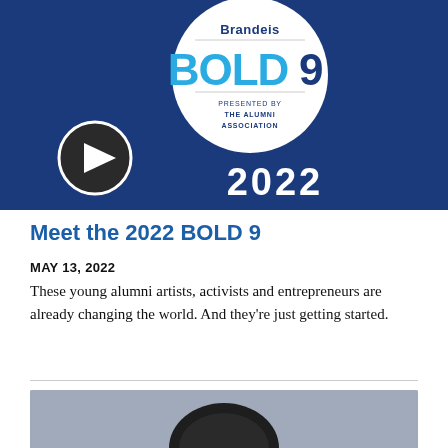[Figure (screenshot): Dark blue hero image with Brandeis BOLD 9 badge logo (white circle with blue text), a play button on the left, and '2022' in white text. The badge reads 'Brandeis BOLD 9 PRESENTED BY THE ALUMNI ASSOCIATION'.]
Meet the 2022 BOLD 9
MAY 13, 2022
These young alumni artists, activists and entrepreneurs are already changing the world. And they're just getting started.
[Figure (photo): Bottom portion of a photo showing the top of a person's head with dark hair, partially cropped.]